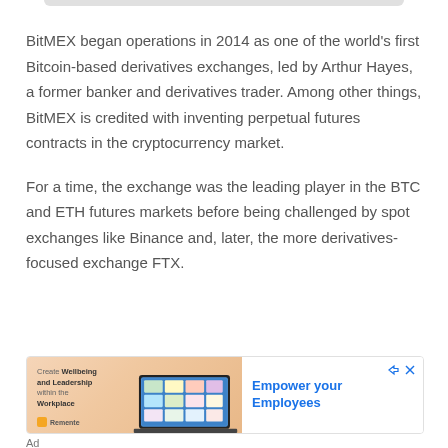BitMEX began operations in 2014 as one of the world's first Bitcoin-based derivatives exchanges, led by Arthur Hayes, a former banker and derivatives trader. Among other things, BitMEX is credited with inventing perpetual futures contracts in the cryptocurrency market.
For a time, the exchange was the leading player in the BTC and ETH futures markets before being challenged by spot exchanges like Binance and, later, the more derivatives-focused exchange FTX.
[Figure (screenshot): Advertisement banner for Remente app: 'Create Wellbeing and Leadership within the Workplace' with an image of laptop and phone devices. Right side shows text 'Empower your Employees' in blue. Ad label below.]